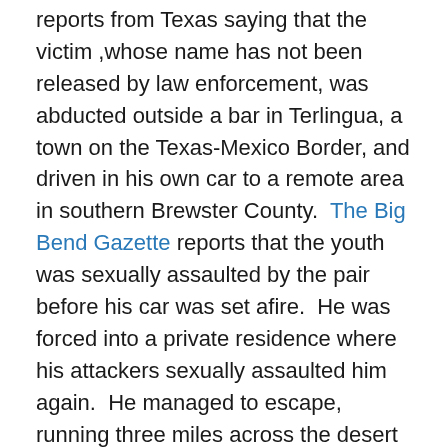reports from Texas saying that the victim ,whose name has not been released by law enforcement, was abducted outside a bar in Terlingua, a town on the Texas-Mexico Border, and driven in his own car to a remote area in southern Brewster County.  The Big Bend Gazette reports that the youth was sexually assaulted by the pair before his car was set afire.  He was forced into a private residence where his attackers sexually assaulted him again.  He managed to escape, running three miles across the desert to a highway where a Brewster County Sheriff's Deputy spotted him and took him to a hospital for treatment.  Officials say that the victim is currently recovering in an undisclosed location.  Law enforcement has been tight-lipped about the crime, but both local and LGBT press have speculated that the assault was an anti-gay hate crime.  Some have gone so far as to equate the attack with the fatal pistol whipping of hate crime victim